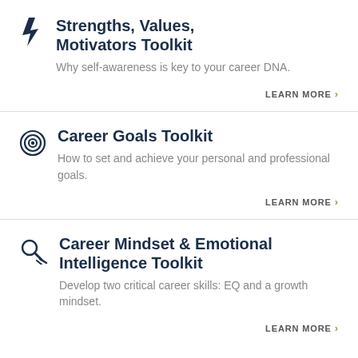Strengths, Values, Motivators Toolkit – Why self-awareness is key to your career DNA. LEARN MORE
Career Goals Toolkit – How to set and achieve your personal and professional goals. LEARN MORE
Career Mindset & Emotional Intelligence Toolkit – Develop two critical career skills: EQ and a growth mindset. LEARN MORE